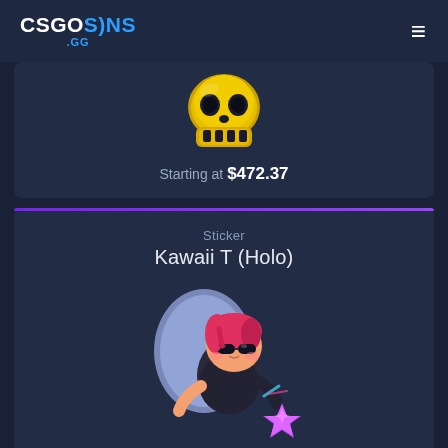CSGOSKINS .GG
[Figure (illustration): Golden skull sticker/item image on dark background]
Starting at $472.37
Sticker
Kawaii T (Holo)
[Figure (illustration): Kawaii T (Holo) sticker showing a cartoon girl character with sunglasses, red hair, and a colorful star]
Starting at $3.06